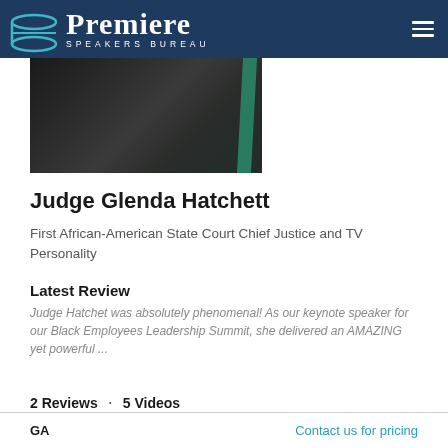Premiere Speakers Bureau
[Figure (photo): Partial photo of Judge Glenda Hatchett in black judicial robes with a green accent (scarf or tie), upper body cropped]
Judge Glenda Hatchett
First African-American State Court Chief Justice and TV Personality
Latest Review
Judge Hatchet was absolutely phenomenal! As our keynote speaker for our Black Employees Leadership Summit, she delivered an AMAZING yet powerful ...
2 Reviews · 5 Videos
GA  Contact us for pricing